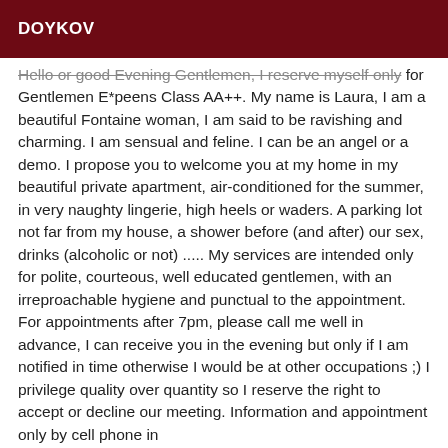DOYKOV
Hello or good Evening Gentlemen, I reserve myself only for Gentlemen E*peens Class AA++. My name is Laura, I am a beautiful Fontaine woman, I am said to be ravishing and charming. I am sensual and feline. I can be an angel or a demo. I propose you to welcome you at my home in my beautiful private apartment, air-conditioned for the summer, in very naughty lingerie, high heels or waders. A parking lot not far from my house, a shower before (and after) our sex, drinks (alcoholic or not) ..... My services are intended only for polite, courteous, well educated gentlemen, with an irreproachable hygiene and punctual to the appointment. For appointments after 7pm, please call me well in advance, I can receive you in the evening but only if I am notified in time otherwise I would be at other occupations ;) I privilege quality over quantity so I reserve the right to accept or decline our meeting. Information and appointment only by cell phone in